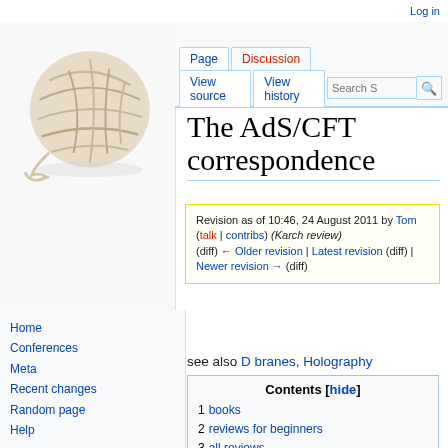Log in
[Figure (photo): Ball of yarn/string, beige/cream colored]
Page | Discussion | View source | View history | Search S
The AdS/CFT correspondence
Revision as of 10:46, 24 August 2011 by Tom (talk | contribs) (Karch review)
(diff) ← Older revision | Latest revision (diff) | Newer revision → (diff)
see also D branes, Holography
Contents [hide]
1  books
2  reviews for beginners
3  all reviews
4  papers
Home
Conferences
Meta
Recent changes
Random page
Help
Tools
What links here
Related changes
Special pages
Printable version
Permanent link
Page information